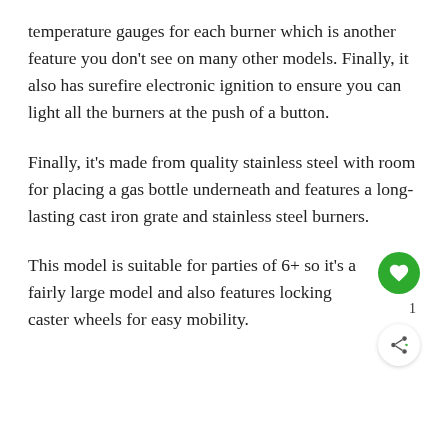temperature gauges for each burner which is another feature you don't see on many other models. Finally, it also has surefire electronic ignition to ensure you can light all the burners at the push of a button.
Finally, it's made from quality stainless steel with room for placing a gas bottle underneath and features a long-lasting cast iron grate and stainless steel burners.
This model is suitable for parties of 6+ so it's a fairly large model and also features locking caster wheels for easy mobility.